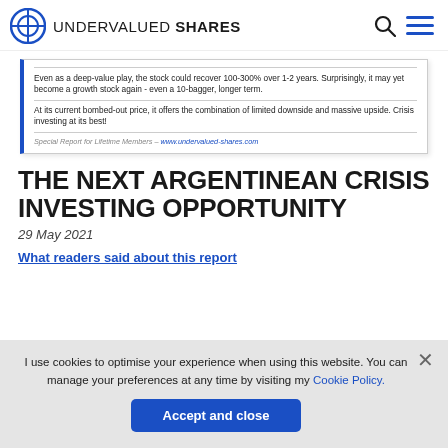UNDERVALUED SHARES
[Figure (screenshot): Preview snippet of a special report document showing text about deep-value stock recovery potential of 100-300% over 1-2 years, becoming a growth stock or 10-bagger longer term, and offering limited downside with massive upside. Footer reads: Special Report for Lifetime Members – www.undervalued-shares.com]
THE NEXT ARGENTINEAN CRISIS INVESTING OPPORTUNITY
29 May 2021
What readers said about this report
I use cookies to optimise your experience when using this website. You can manage your preferences at any time by visiting my Cookie Policy.